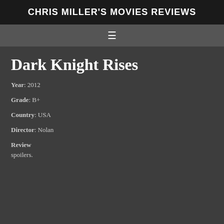CHRIS MILLER'S MOVIES REVIEWS
Dark Knight Rises
Year: 2012
Grade: B+
Country: USA
Director: Nolan
Review
spoilers.